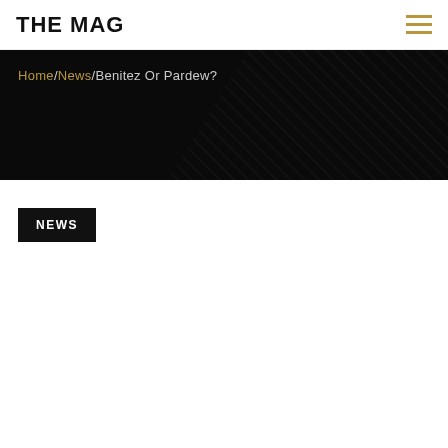THE MAG
Home/News/Benitez Or Pardew?
NEWS